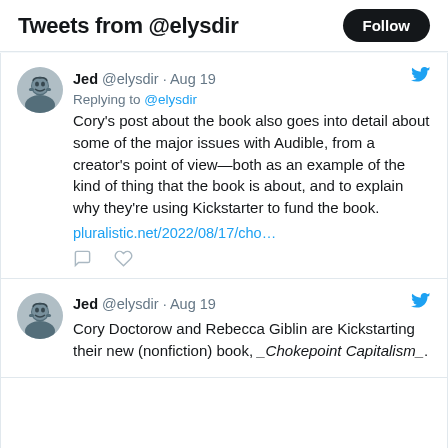Tweets from @elysdir
Jed @elysdir · Aug 19
Replying to @elysdir
Cory's post about the book also goes into detail about some of the major issues with Audible, from a creator's point of view—both as an example of the kind of thing that the book is about, and to explain why they're using Kickstarter to fund the book.
plualistic.net/2022/08/17/cho…
Jed @elysdir · Aug 19
Cory Doctorow and Rebecca Giblin are Kickstarting their new (nonfiction) book, _Chokepoint Capitalism_.